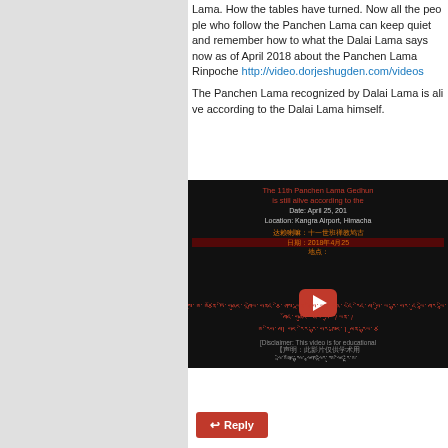Panchen Lama are both good and both are meaningful to people attracted to the Dalai Lama. How the tables have turned. Now all the people who follow the Panchen Lama can keep quiet and remember how they supported China and listen to what the Dalai Lama says now as of April 2018 about the Panchen Lama Rinpoche http://video.dorjeshugden.com/videos...
The Panchen Lama recognized by Dalai Lama is alive according to the Dalai Lama himself.
[Figure (screenshot): Video thumbnail showing text overlay about the 11th Panchen Lama Gedhun being still alive according to the Dalai Lama. Date: April 25, 2018. Location: Kangra Airport, Himachal Pradesh. Text in Chinese and Tibetan. YouTube play button visible. Disclaimer text at bottom.]
Reply